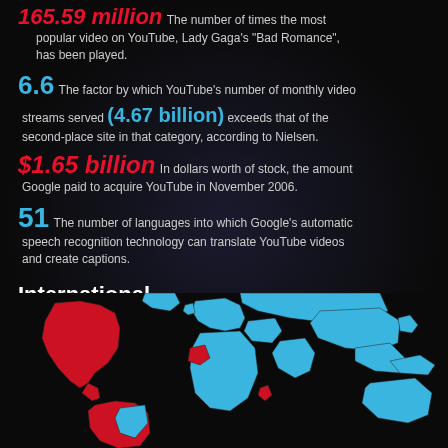165.59 million The number of times the most popular video on YouTube, Lady Gaga's "Bad Romance", has been played.
6.6 The factor by which YouTube's number of monthly video streams served (4.67 billion) exceeds that of the second-place site in that category, according to Nielsen.
$1.65 billion In dollars worth of stock, the amount Google paid to acquire YouTube in November 2006.
51 The number of languages into which Google's automatic speech recognition technology can translate YouTube videos and create captions.
International
[Figure (map): World map showing countries in red and blue, representing YouTube international presence and availability. Americas shown mostly in red, Europe/Asia/Africa/Australia shown in blue.]